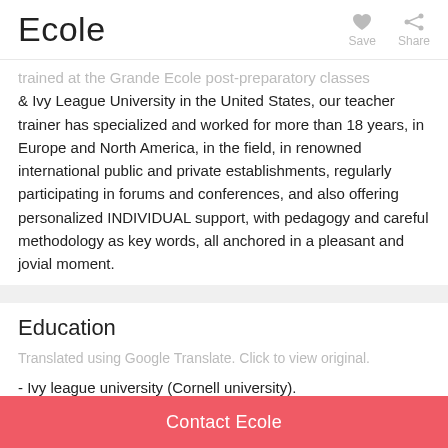Ecole
trained at the Grande Ecole post-preparatory classes & Ivy League University in the United States, our teacher trainer has specialized and worked for more than 18 years, in Europe and North America, in the field, in renowned international public and private establishments, regularly participating in forums and conferences, and also offering personalized INDIVIDUAL support, with pedagogy and careful methodology as key words, all anchored in a pleasant and jovial moment.
Education
Translated using Google Translate. Click to view original.
- Ivy league university (Cornell university).
- 'Advanced' Master's degree and Grande Ecole
Contact Ecole